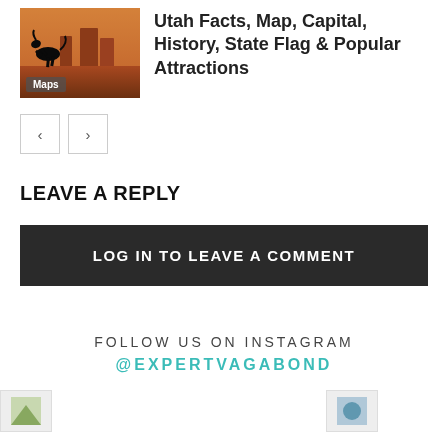[Figure (photo): Thumbnail photo of Utah landscape with red rock formations and a black horse silhouette rearing up, with a 'Maps' label overlay at the bottom left]
Utah Facts, Map, Capital, History, State Flag & Popular Attractions
[Figure (other): Navigation arrows: left arrow button and right arrow button]
LEAVE A REPLY
LOG IN TO LEAVE A COMMENT
FOLLOW US ON INSTAGRAM
@EXPERTVAGABOND
[Figure (photo): Two Instagram image placeholders at the bottom of the page]